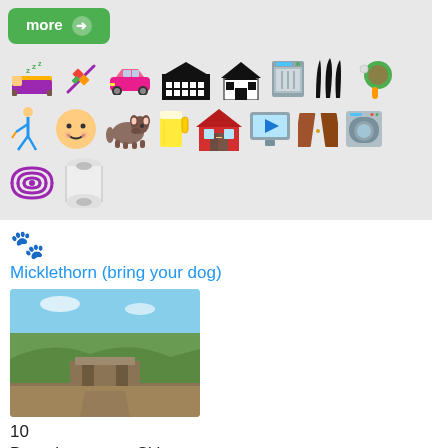[Figure (infographic): Icon grid showing amenities: bed, kebab/skewer, pink car, building/warehouse, house, dishwasher, reeds/grass, ping pong paddle, golfer, baby face, dog, beer mug, red barn, TV/screen, open book, washing machine, radio waves, toilet paper roll]
🐾
Micklethorn (bring your dog)
[Figure (photo): Rural countryside scene showing a stone building/bridge with green fields and hills in the background under a blue sky]
10
Broughton, near Skipton